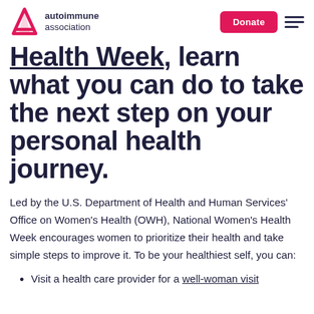autoimmune association | Donate
Health Week, learn what you can do to take the next step on your personal health journey.
Led by the U.S. Department of Health and Human Services' Office on Women's Health (OWH), National Women's Health Week encourages women to prioritize their health and take simple steps to improve it. To be your healthiest self, you can:
Visit a health care provider for a well-woman visit